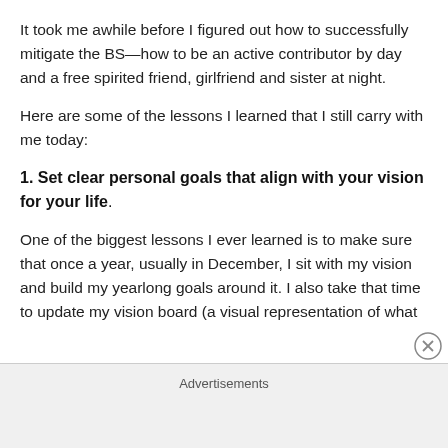It took me awhile before I figured out how to successfully mitigate the BS—how to be an active contributor by day and a free spirited friend, girlfriend and sister at night.
Here are some of the lessons I learned that I still carry with me today:
1. Set clear personal goals that align with your vision for your life.
One of the biggest lessons I ever learned is to make sure that once a year, usually in December, I sit with my vision and build my yearlong goals around it. I also take that time to update my vision board (a visual representation of what
Advertisements